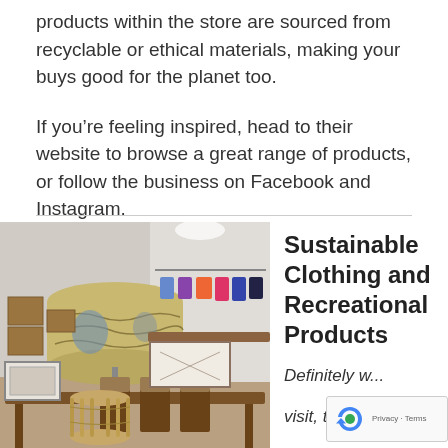products within the store are sourced from recyclable or ethical materials, making your buys good for the planet too.
If you’re feeling inspired, head to their website to browse a great range of products, or follow the business on Facebook and Instagram.
[Figure (photo): Interior of a sustainable goods store showing wooden furniture, chairs with cushions, a wicker birdcage, map lampshade, wooden crates on wall shelves, and colorful bags hanging on a rack.]
Sustainable Clothing and Recreational Products
Definitely w... visit, the...